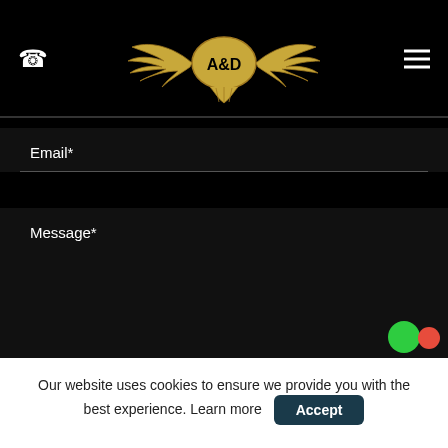[Figure (logo): A&D company logo with golden eagle wings and oval center badge on black background]
Email*
Message*
Please click to give us consent to store your data and contact you about the product requested and our services in the future via phone and email. Please see our privacy policy here.
Our website uses cookies to ensure we provide you with the best experience. Learn more